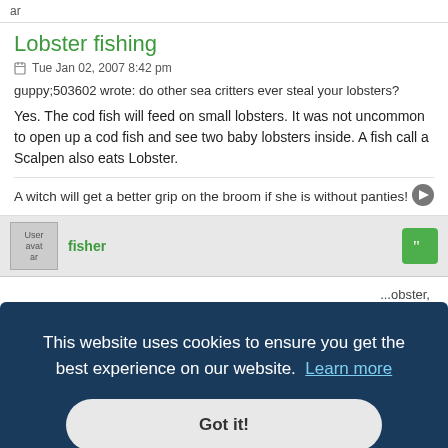ar
Lobster fishing
Tue Jan 02, 2007 8:42 pm
guppy;503602 wrote: do other sea critters ever steal your lobsters?
Yes. The cod fish will feed on small lobsters. It was not uncommon to open up a cod fish and see two baby lobsters inside. A fish call a Scalpen also eats Lobster.
A witch will get a better grip on the broom if she is without panties!
fisher
This website uses cookies to ensure you get the best experience on our website. Learn more
Got it!
obster, past and
Attached files